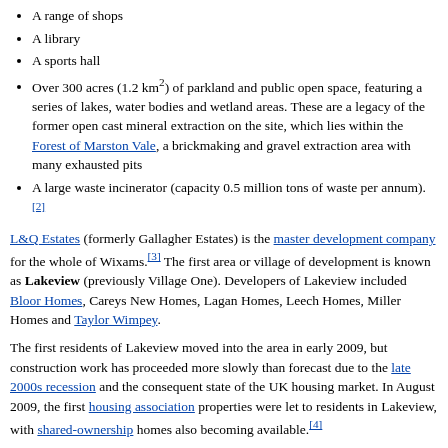A range of shops
A library
A sports hall
Over 300 acres (1.2 km²) of parkland and public open space, featuring a series of lakes, water bodies and wetland areas. These are a legacy of the former open cast mineral extraction on the site, which lies within the Forest of Marston Vale, a brickmaking and gravel extraction area with many exhausted pits
A large waste incinerator (capacity 0.5 million tons of waste per annum).[2]
L&Q Estates (formerly Gallagher Estates) is the master development company for the whole of Wixams.[3] The first area or village of development is known as Lakeview (previously Village One). Developers of Lakeview included Bloor Homes, Careys New Homes, Lagan Homes, Leech Homes, Miller Homes and Taylor Wimpey.
The first residents of Lakeview moved into the area in early 2009, but construction work has proceeded more slowly than forecast due to the late 2000s recession and the consequent state of the UK housing market. In August 2009, the first housing association properties were let to residents in Lakeview, with shared-ownership homes also becoming available.[4]